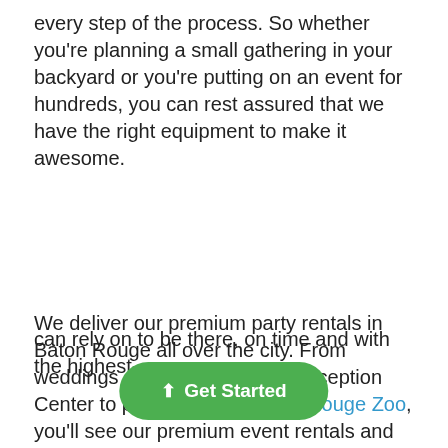every step of the process. So whether you're planning a small gathering in your backyard or you're putting on an event for hundreds, you can rest assured that we have the right equipment to make it awesome.
We deliver our premium party rentals in Baton Rouge all over the city. From weddings at the Lake House Reception Center to parties at The Baton Rouge Zoo, you'll see our premium event rentals and smiling faces helping our community host seamless events all over town. We frequently cater to birthday parties, graduations, weddings, corporate events, church functions, school gatherings, tailgates, anniversary parties, and so much more! Anytime you're planning to gather up your closest friends and family to celebrate, you need the event [rentals company you] can rely on to be there, on time and with the highest-quality products available. We be proud to offer...
Get Started